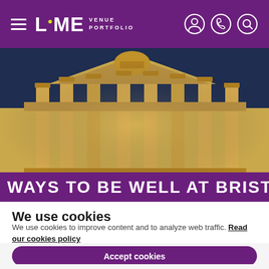LiME VENUE PORTFOLIO
[Figure (photo): Upward view of a grand classical building facade with ornate columns and decorative stonework, illuminated at night with golden lighting against a dark blue sky.]
WAYS TO BE WELL AT BRISTOL
We use cookies
We use cookies to improve content and to analyze web traffic. Read our cookies policy